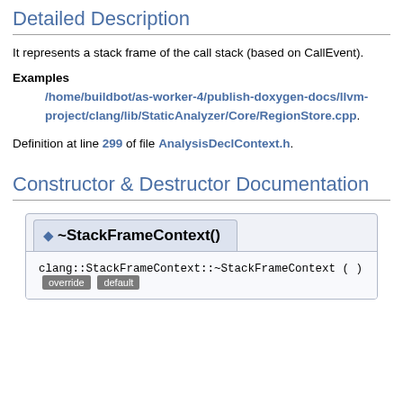Detailed Description
It represents a stack frame of the call stack (based on CallEvent).
Examples
/home/buildbot/as-worker-4/publish-doxygen-docs/llvm-project/clang/lib/StaticAnalyzer/Core/RegionStore.cpp.
Definition at line 299 of file AnalysisDeclContext.h.
Constructor & Destructor Documentation
~StackFrameContext()
clang::StackFrameContext::~StackFrameContext ( ) override default